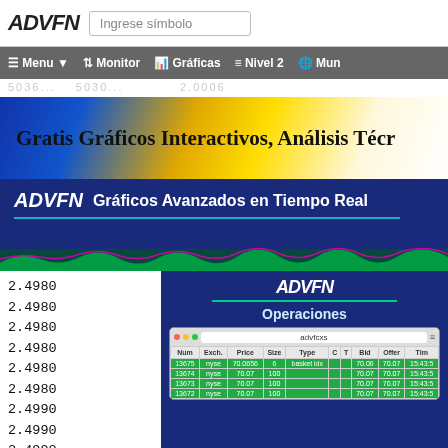ADVFN — Ingrese símbolo
Menu · Monitor · Gráficas · Nivel 2 · Mun
[Figure (screenshot): ADVFN banner advertisement: 'Gratis Gráficos Interactivos, Análisis Técr...' on blue/yellow/white gradient background]
[Figure (screenshot): ADVFN Gráficos Avanzados en Tiempo Real promo banner with teal underline and wave chart]
2.4980
2.4980
2.4980
2.4980
2.4980
2.4980
2.4990
2.4990
2.4990
2.4980
[Figure (screenshot): ADVFN Operaciones panel showing a mac-style browser window with a trades table listing Num, Exch, Price, Size, Type, C, T, Bid, Offer, Tim columns with green highlighted rows for trades at nyse at 70.07/70.06]